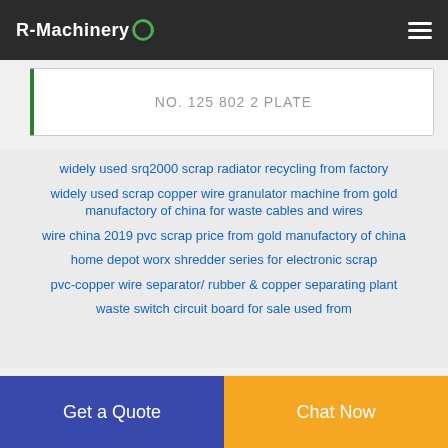R-Machinery
NO. 125 802 2 PLATE
widely used srq2000 scrap radiator recycling from factory
widely used scrap copper wire granulator machine from gold manufactory of china for waste cables and wires
wire china 2019 pvc scrap price from gold manufactory of china
home depot worx shredder series for electronic scrap
pvc-copper wire separator/ rubber & copper separating plant
waste switch circuit board for sale used from
Get a Quote
Chat Now